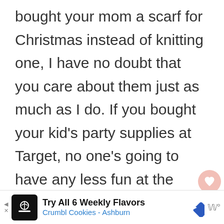bought your mom a scarf for Christmas instead of knitting one, I have no doubt that you care about them just as much as I do. If you bought your kid's party supplies at Target, no one's going to have any less fun at the party or feel any less loved.
[Figure (other): Heart (favorite) button and share button overlaid on the right side of the page]
[Figure (other): What's Next widget showing 'Learn to Knit - Knitted Cast...' with a thumbnail image]
I create because I like to challenge
[Figure (other): Advertisement bar: Try All 6 Weekly Flavors - Crumbl Cookies - Ashburn]